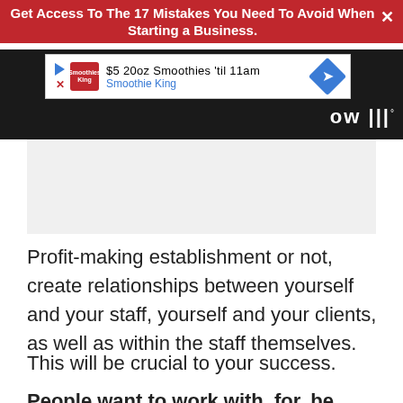Get Access To The 17 Mistakes You Need To Avoid When Starting a Business.
[Figure (screenshot): Smoothie King advertisement banner: '$5 20oz Smoothies 'til 11am' with Smoothie King logo and blue diamond navigation arrow]
[Figure (other): Gray placeholder advertisement area]
Profit-making establishment or not, create relationships between yourself and your staff, yourself and your clients, as well as within the staff themselves.
This will be crucial to your success.
People want to work with, for, be around, and buy